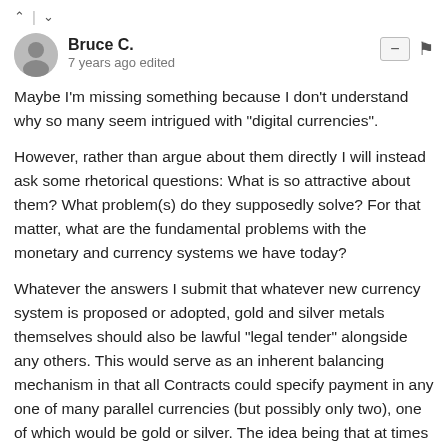▲ | ▼
Bruce C.
7 years ago edited
Maybe I'm missing something because I don't understand why so many seem intrigued with "digital currencies".
However, rather than argue about them directly I will instead ask some rhetorical questions: What is so attractive about them? What problem(s) do they supposedly solve? For that matter, what are the fundamental problems with the monetary and currency systems we have today?
Whatever the answers I submit that whatever new currency system is proposed or adopted, gold and silver metals themselves should also be lawful "legal tender" alongside any others. This would serve as an inherent balancing mechanism in that all Contracts could specify payment in any one of many parallel currencies (but possibly only two), one of which would be gold or silver. The idea being that at times of payment the seller has a right to demand payment in either (or any one of many) currencies - including physical gold or silver. (This is